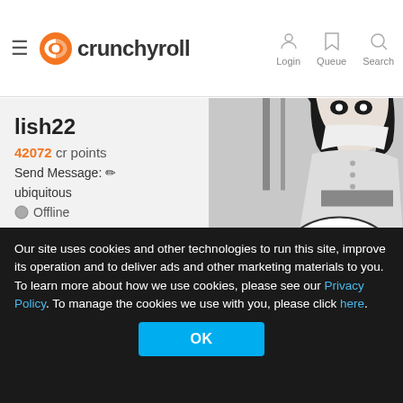[Figure (logo): Crunchyroll logo with orange icon and text, hamburger menu, and Login/Queue/Search header buttons]
lish22
42072 cr points
Send Message:
ubiquitous
Offline
[Figure (illustration): Black and white manga illustration of an anime girl with dark hair, wearing a dress, with a speech bubble reading 'Me to answer that question?']
Our site uses cookies and other technologies to run this site, improve its operation and to deliver ads and other marketing materials to you. To learn more about how we use cookies, please see our Privacy Policy. To manage the cookies we use with you, please click here.
OK